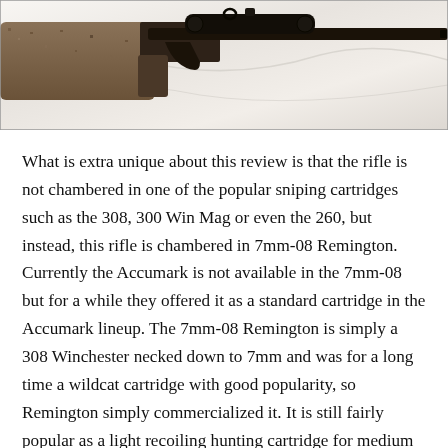[Figure (photo): Photograph of a rifle with a brown/tan speckled stock lying on a white cloth background. The rifle has a dark barrel and scope visible.]
What is extra unique about this review is that the rifle is not chambered in one of the popular sniping cartridges such as the 308, 300 Win Mag or even the 260, but instead, this rifle is chambered in 7mm-08 Remington. Currently the Accumark is not available in the 7mm-08 but for a while they offered it as a standard cartridge in the Accumark lineup. The 7mm-08 Remington is simply a 308 Winchester necked down to 7mm and was for a long time a wildcat cartridge with good popularity, so Remington simply commercialized it. It is still fairly popular as a light recoiling hunting cartridge for medium sized game, but there are those out there that advocate it as a